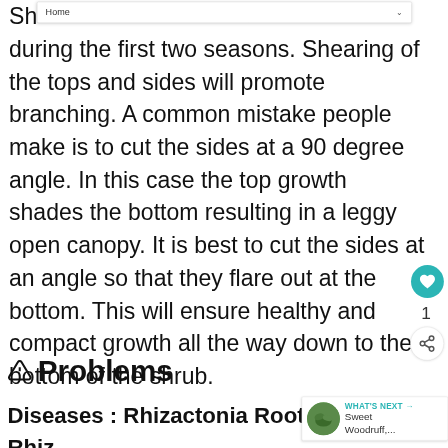[Figure (screenshot): Browser navigation dropdown showing 'Home' option with a down-arrow chevron]
Sh... during the first two seasons. Shearing of the tops and sides will promote branching. A common mistake people make is to cut the sides at a 90 degree angle. In this case the top growth shades the bottom resulting in a leggy open canopy. It is best to cut the sides at an angle so that they flare out at the bottom. This will ensure healthy and compact growth all the way down to the bottom of the shrub.
⚠ Problems
Diseases : Rhizactonia Root and
[Figure (screenshot): What's Next panel showing a circular photo of Sweet Woodruff plant with label 'WHAT'S NEXT →' and text 'Sweet Woodruff,...']
Rhiz... (partial, cut off at bottom)